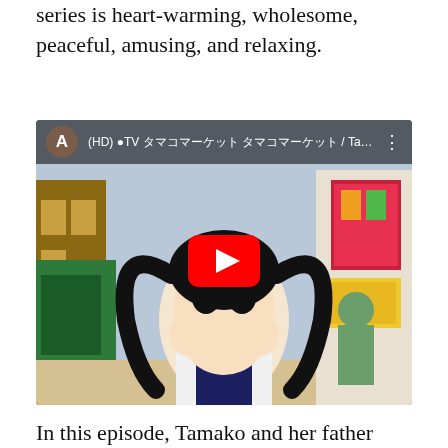series is heart-warming, wholesome, peaceful, amusing, and relaxing.
[Figure (screenshot): YouTube video thumbnail showing an anime character (Tamako) from Tamako Market with hands raised to face, in a marketplace setting. Video title reads: (HD) [TV タマコマーケット / Tamako Ma...]
In this episode, Tamako and her father butt heads regarding the way their shop should celebrate Valentine's Day. Tamako believes their mochi shop would have a sales boost if they incorporated Valentine's Day themed menu options. Even her grandfather seems in the spirit, despite his son's